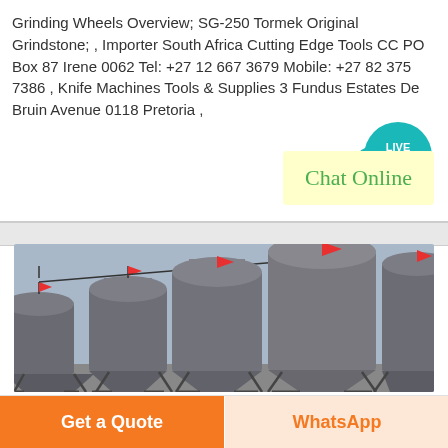Grinding Wheels Overview; SG-250 Tormek Original Grindstone; , Importer South Africa Cutting Edge Tools CC PO Box 87 Irene 0062 Tel: +27 12 667 3679 Mobile: +27 82 375 7386 , Knife Machines Tools & Supplies 3 Fundus Estates De Bruin Avenue 0118 Pretoria ,
[Figure (infographic): Live Chat button: teal speech bubble with 'LIVE CHAT' text overlay]
[Figure (other): Chat Online button in yellow-green box]
[Figure (photo): Industrial silos - large gray cylindrical storage tanks on metal frames against a blue-gray sky, with red flag markers on top]
Get a Quote
WhatsApp